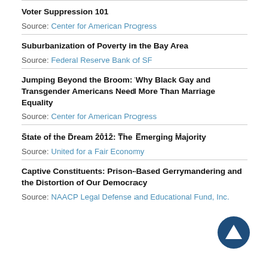Voter Suppression 101
Source: Center for American Progress
Suburbanization of Poverty in the Bay Area
Source: Federal Reserve Bank of SF
Jumping Beyond the Broom: Why Black Gay and Transgender Americans Need More Than Marriage Equality
Source: Center for American Progress
State of the Dream 2012: The Emerging Majority
Source: United for a Fair Economy
Captive Constituents: Prison-Based Gerrymandering and the Distortion of Our Democracy
Source: NAACP Legal Defense and Educational Fund, Inc.